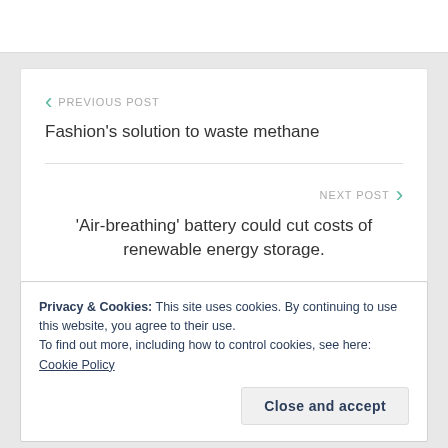PREVIOUS POST
Fashion's solution to waste methane
NEXT POST
'Air-breathing' battery could cut costs of renewable energy storage.
Privacy & Cookies: This site uses cookies. By continuing to use this website, you agree to their use.
To find out more, including how to control cookies, see here: Cookie Policy
Close and accept